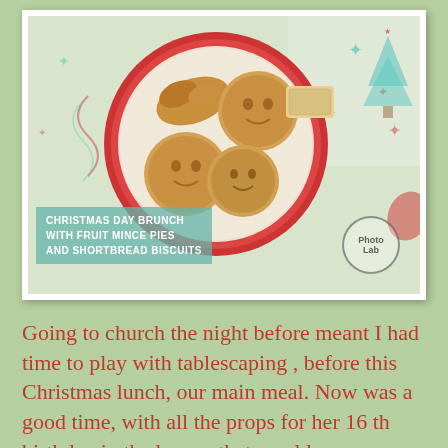[Figure (photo): Overhead photo of a red paper plate with fruit mince pies, a croissant, and shortbread biscuits on a Christmas-themed tablecloth. Photo has a teal text overlay reading 'CHRISTMAS DAY BRUNCH WITH FRUIT MINCE PIES AND SHORTBREAD BISCUITS' and a 'Photo Lab' watermark.]
Going to church the night before meant I had time to play with tablescaping , before this Christmas lunch, our main meal. Now was a good time, with all the props for her 16 th birthday in the house, that would